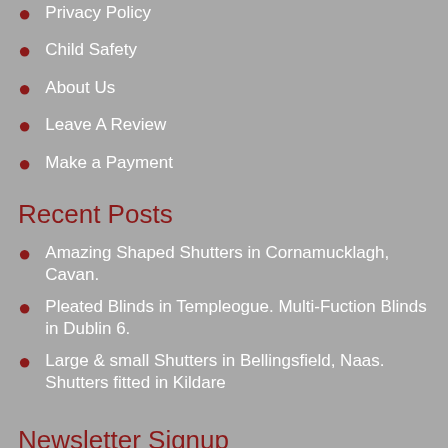Privacy Policy
Child Safety
About Us
Leave A Review
Make a Payment
Recent Posts
Amazing Shaped Shutters in Cornamucklagh, Cavan.
Pleated Blinds in Templeogue. Multi-Fuction Blinds in Dublin 6.
Large & small Shutters in Bellingsfield, Naas. Shutters fitted in Kildare
Newsletter Signup
Email address: